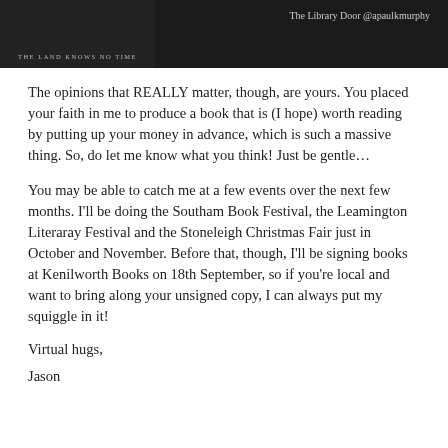[Figure (photo): Dark banner image showing a book cover with text 'THE LAND KNOWS NO TIME' on the left, and text 'The Library Door @apaulkmurphy' on the right, against a dark background.]
The opinions that REALLY matter, though, are yours. You placed your faith in me to produce a book that is (I hope) worth reading by putting up your money in advance, which is such a massive thing. So, do let me know what you think! Just be gentle…
You may be able to catch me at a few events over the next few months. I'll be doing the Southam Book Festival, the Leamington Literaray Festival and the Stoneleigh Christmas Fair just in October and November. Before that, though, I'll be signing books at Kenilworth Books on 18th September, so if you're local and want to bring along your unsigned copy, I can always put my squiggle in it!
Virtual hugs,
Jason